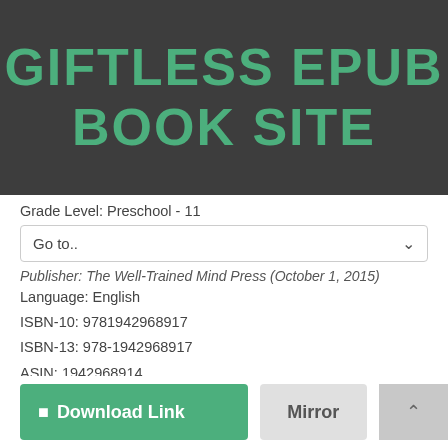GIFTLESS EPUB BOOK SITE
Grade Level: Preschool - 11
Go to..
Publisher: The Well-Trained Mind Press (October 1, 2015)
Language: English
ISBN-10: 9781942968917
ISBN-13: 978-1942968917
ASIN: 1942968914
Product Dimensions: 5.7 x 0.4 x 5 inches
Amazon Rank: 736480
Format: PDF Text djvu ebook